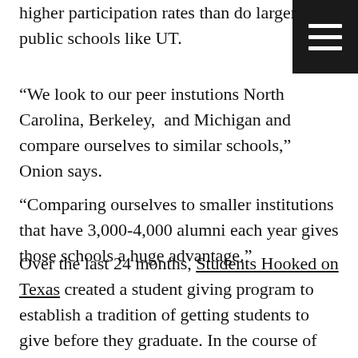higher participation rates than do larger public schools like UT.
“We look to our peer instutions North Carolina, Berkeley, and Michigan and compare ourselves to similar schools,” Onion says.
“Comparing ourselves to smaller institutions that have 3,000-4,000 alumni each year gives those schools a huge advantage.”
Over the last 24 months, Students Hooked on Texas created a student giving program to establish a tradition of getting students to give before they graduate. In the course of two years the number of students giving to the campaign has increased from 200 to 1,100, an overall 400 percent increase.